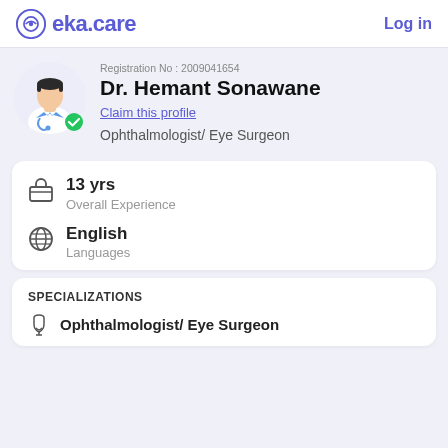eka.care — Log in
Registration No : 2009041654
Dr. Hemant Sonawane
Claim this profile
Ophthalmologist/ Eye Surgeon
13 yrs
Overall Experience
English
Languages
SPECIALIZATIONS
Ophthalmologist/ Eye Surgeon